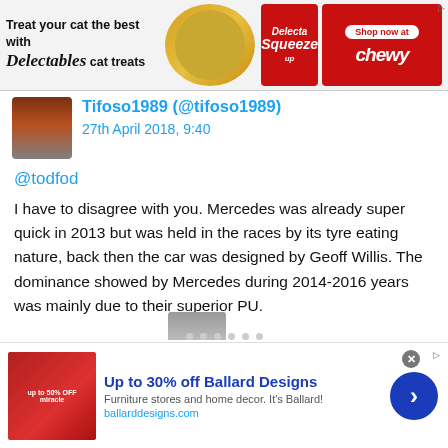[Figure (screenshot): Top advertisement banner for Delectables cat treats with Chewy branding]
Tifoso1989 (@tifoso1989)
27th April 2018, 9:40
@todfod
I have to disagree with you. Mercedes was already super quick in 2013 but was held in the races by its tyre eating nature, back then the car was designed by Geoff Willis. The dominance showed by Mercedes during 2014-2016 years was mainly due to their superior PU.
[Figure (screenshot): Bottom advertisement banner for Ballard Designs — Up to 30% off]
Up to 30% off Ballard Designs
Furniture stores and home decor. It's Ballard!
ballarddesigns.com